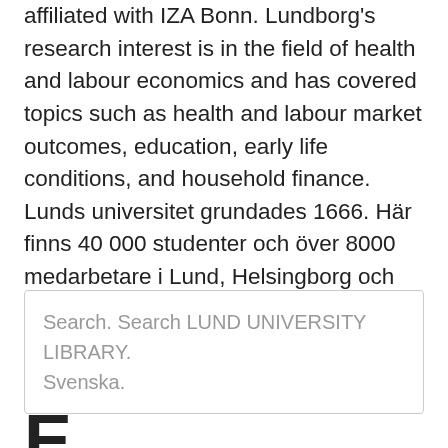affiliated with IZA Bonn. Lundborg's research interest is in the field of health and labour economics and has covered topics such as health and labour market outcomes, education, early life conditions, and household finance. Lunds universitet grundades 1666. Här finns 40 000 studenter och över 8000 medarbetare i Lund, Helsingborg och Malmö. Vi förenas i vår strävan att förstå, förklara och förbättra vår värld och människors villkor.
Search. Search LUND UNIVERSITY LIBRARY. Svenska.
E...